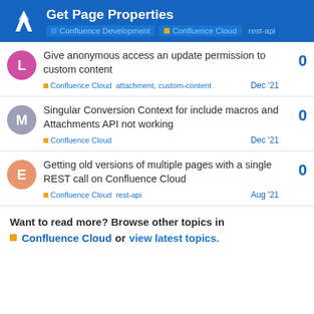Get Page Properties — Confluence Development | Confluence Cloud | rest-api
Give anonymous access an update permission to custom content — Confluence Cloud, attachment, custom-content — Dec '21 — 0 replies
Singular Conversion Context for include macros and Attachments API not working — Confluence Cloud — Dec '21 — 0 replies
Getting old versions of multiple pages with a single REST call on Confluence Cloud — Confluence Cloud, rest-api — Aug '21 — 0 replies
Want to read more? Browse other topics in Confluence Cloud or view latest topics.